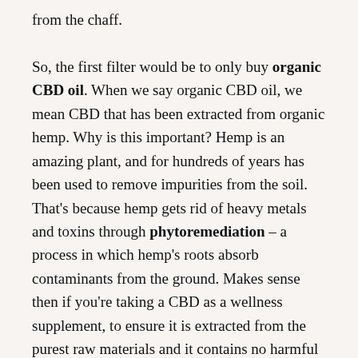from the chaff.

So, the first filter would be to only buy organic CBD oil. When we say organic CBD oil, we mean CBD that has been extracted from organic hemp. Why is this important? Hemp is an amazing plant, and for hundreds of years has been used to remove impurities from the soil. That's because hemp gets rid of heavy metals and toxins through phytoremediation – a process in which hemp's roots absorb contaminants from the ground. Makes sense then if you're taking a CBD as a wellness supplement, to ensure it is extracted from the purest raw materials and it contains no harmful pesticides.